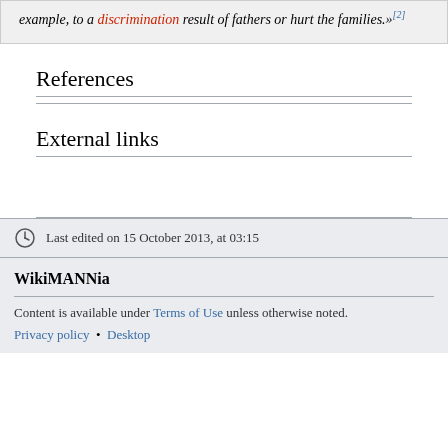…similar attitudes and come together, for example, to a discrimination result of fathers or hurt the families.»[2]
References
External links
Last edited on 15 October 2013, at 03:15
WikiMANNia
Content is available under Terms of Use unless otherwise noted.
Privacy policy • Desktop